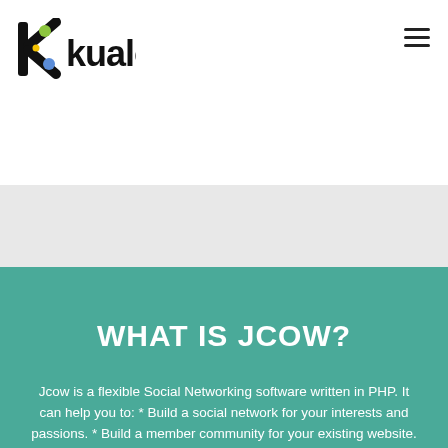[Figure (logo): Kualo logo — stylized black wordmark with a colorful K letter mark (green, blue, yellow)]
WHAT IS JCOW?
Jcow is a flexible Social Networking software written in PHP. It can help you to: * Build a social network for your interests and passions. * Build a member community for your existing website. * Build a social networking site like